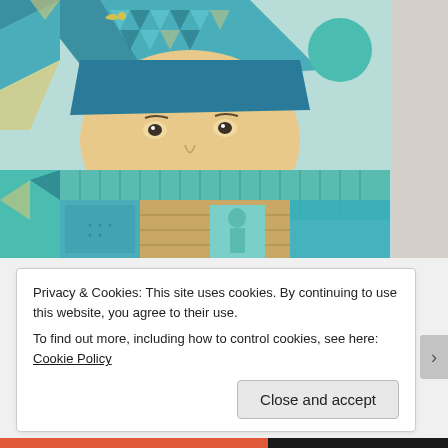[Figure (photo): A large colorful street mural on a building exterior photographed from below against a deep blue sky. The mural depicts a large stylized face of a figure wearing a blue geometric-patterned hat/hood, with a teal/turquoise color palette throughout. The figure has a peach-colored face with simple eyes and a line for a nose/mouth area. Below the face is a geometric body composed of rectangular teal blocks and planks. Within the body is a small child-like figure standing in a doorway/opening. A teal circle appears in the upper right of the mural. Small bird figures appear in the upper left. The overall style is geometric and graphic.]
Privacy & Cookies: This site uses cookies. By continuing to use this website, you agree to their use.
To find out more, including how to control cookies, see here: Cookie Policy
Close and accept